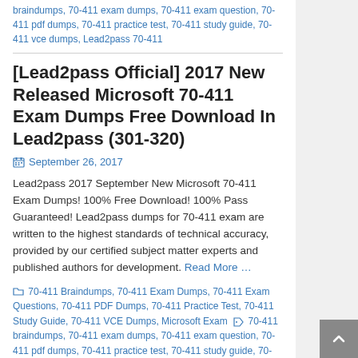braindumps, 70-411 exam dumps, 70-411 exam question, 70-411 pdf dumps, 70-411 practice test, 70-411 study guide, 70-411 vce dumps, Lead2pass 70-411
[Lead2pass Official] 2017 New Released Microsoft 70-411 Exam Dumps Free Download In Lead2pass (301-320)
September 26, 2017
Lead2pass 2017 September New Microsoft 70-411 Exam Dumps! 100% Free Download! 100% Pass Guaranteed! Lead2pass dumps for 70-411 exam are written to the highest standards of technical accuracy, provided by our certified subject matter experts and published authors for development. Read More …
70-411 Braindumps, 70-411 Exam Dumps, 70-411 Exam Questions, 70-411 PDF Dumps, 70-411 Practice Test, 70-411 Study Guide, 70-411 VCE Dumps, Microsoft Exam 70-411 braindumps, 70-411 exam dumps, 70-411 exam question, 70-411 pdf dumps, 70-411 practice test, 70-411 study guide, 70-